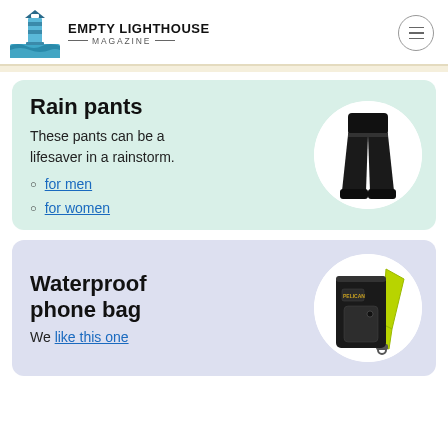Empty Lighthouse Magazine
Rain pants
These pants can be a lifesaver in a rainstorm.
for men
for women
[Figure (photo): Person wearing black rain pants]
Waterproof phone bag
We like this one
[Figure (photo): Black waterproof phone bag with yellow lanyard strap]